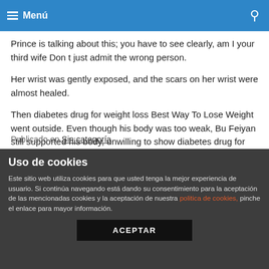Menú
Prince is talking about this; you have to see clearly, am I your third wife Don t just admit the wrong person.
Her wrist was gently exposed, and the scars on her wrist were almost healed.
Then diabetes drug for weight loss Best Way To Lose Weight went outside. Even though his body was too weak, Bu Feiyan still supported his body, unwilling to show diabetes drug for weight loss Cut Fat the slightest weakness in front of Chu Xiliang.
[Figure (other): Social sharing buttons: Facebook, Twitter, Reddit, Pinterest, LinkedIn, Email]
Publicado en Sin categoría.
Uso de cookies
Este sitio web utiliza cookies para que usted tenga la mejor experiencia de usuario. Si continúa navegando está dando su consentimiento para la aceptación de las mencionadas cookies y la aceptación de nuestra politica de cookies, pinche el enlace para mayor información.